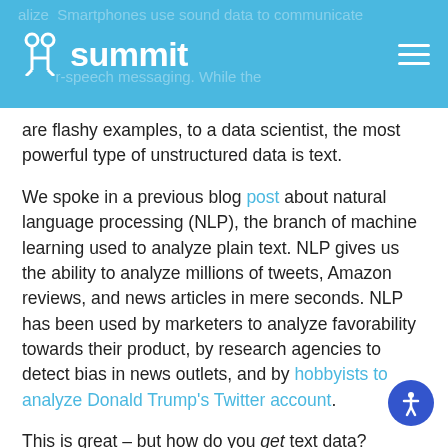summit
are flashy examples, to a data scientist, the most powerful type of unstructured data is text.
We spoke in a previous blog post about natural language processing (NLP), the branch of machine learning used to analyze plain text. NLP gives us the ability to analyze millions of tweets, Amazon reviews, and news articles in mere seconds. NLP has been used by marketers to analyze favorability towards their product, by research agencies to detect bias in news outlets, and by hobbyists to analyze Donald Trump's Twitter account.
This is great – but how do you get text data? Certainly no one is copy and pasting every single news article